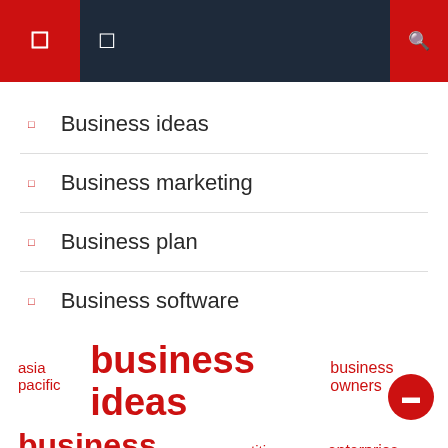Navigation bar with menu and search icons
Business ideas
Business marketing
Business plan
Business software
Business website
Uncategorized
asia pacific  business ideas  business owners  business plans  competitive landscape  enterprise software